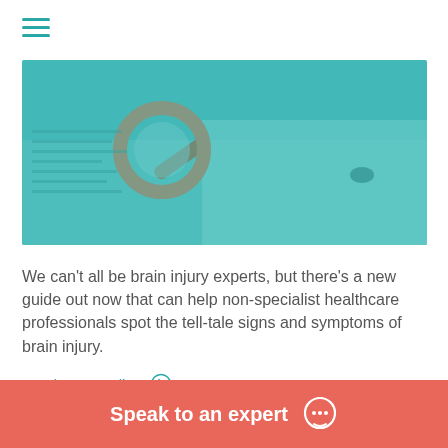[Figure (photo): A magnifying glass resting on papers on a desk, with a teal/cyan color overlay]
We can't all be brain injury experts, but there's a new guide out now that can help non-specialist healthcare professionals spot the tell-tale signs and symptoms of brain injury.
Continue Reading ›
Speak to an expert